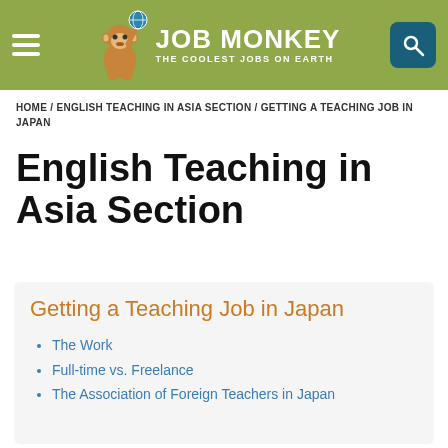JOB MONKEY — THE COOLEST JOBS ON EARTH
HOME / ENGLISH TEACHING IN ASIA SECTION / GETTING A TEACHING JOB IN JAPAN
English Teaching in Asia Section
Getting a Teaching Job in Japan
The Work
Full-time vs. Freelance
The Association of Foreign Teachers in Japan